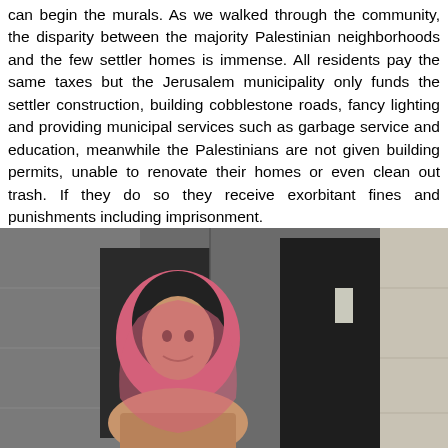can begin the murals. As we walked through the community, the disparity between the majority Palestinian neighborhoods and the few settler homes is immense. All residents pay the same taxes but the Jerusalem municipality only funds the settler construction, building cobblestone roads, fancy lighting and providing municipal services such as garbage service and education, meanwhile the Palestinians are not given building permits, unable to renovate their homes or even clean out trash. If they do so they receive exorbitant fines and punishments including imprisonment.
[Figure (photo): A woman wearing a pink hijab smiling in front of a stone building with dark doorways.]